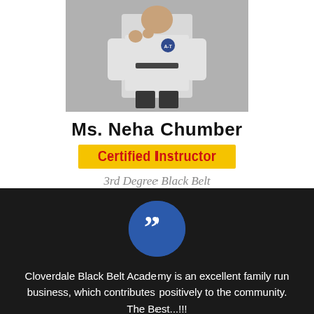[Figure (photo): Photo of Ms. Neha Chumber in a white martial arts gi/dobok, posing in a fighting stance]
Ms. Neha Chumber
Certified Instructor
3rd Degree Black Belt
[Figure (illustration): Blue circle with closing double quotation marks symbol, used as a testimonial/quote icon]
Cloverdale Black Belt Academy is an excellent family run business, which contributes positively to the community. The Best...!!! I am...